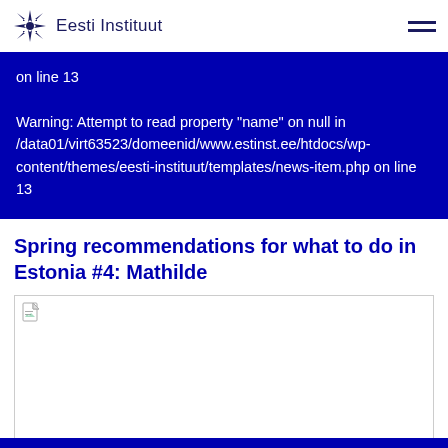Eesti Instituut
on line 13

Warning: Attempt to read property "name" on null in /data01/virt63523/domeenid/www.estinst.ee/htdocs/wp-content/themes/eesti-instituut/templates/news-item.php on line 13
Spring recommendations for what to do in Estonia #4: Mathilde
[Figure (photo): Broken/missing image placeholder with small document icon in top-left corner]